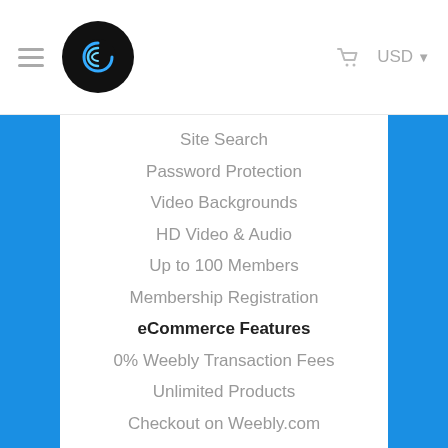USD
Site Search
Password Protection
Video Backgrounds
HD Video & Audio
Up to 100 Members
Membership Registration
eCommerce Features
0% Weebly Transaction Fees
Unlimited Products
Checkout on Weebly.com